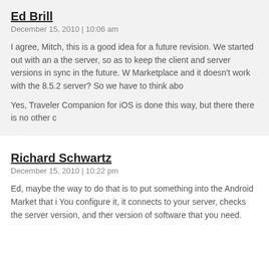Ed Brill
December 15, 2010 | 10:06 am
I agree, Mitch, this is a good idea for a future revision. We started out with an a the server, so as to keep the client and server versions in sync in the future. W Marketplace and it doesn't work with the 8.5.2 server? So we have to think abo

Yes, Traveler Companion for iOS is done this way, but there there is no other c
Richard Schwartz
December 15, 2010 | 10:22 pm
Ed, maybe the way to do that is to put something into the Android Market that i You configure it, it connects to your server, checks the server version, and ther version of software that you need.